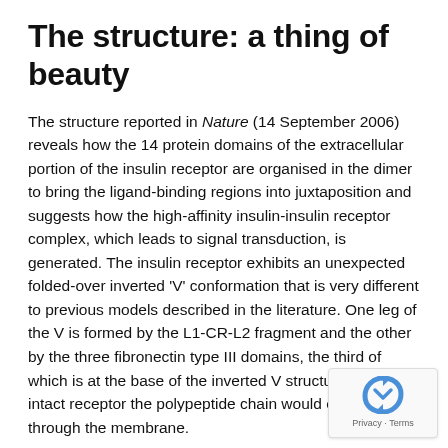The structure: a thing of beauty
The structure reported in Nature (14 September 2006) reveals how the 14 protein domains of the extracellular portion of the insulin receptor are organised in the dimer to bring the ligand-binding regions into juxtaposition and suggests how the high-affinity insulin-insulin receptor complex, which leads to signal transduction, is generated. The insulin receptor exhibits an unexpected folded-over inverted 'V' conformation that is very different to previous models described in the literature. One leg of the V is formed by the L1-CR-L2 fragment and the other by the three fibronectin type III domains, the third of which is at the base of the inverted V structure. In the intact receptor the polypeptide chain would extend through the membrane.